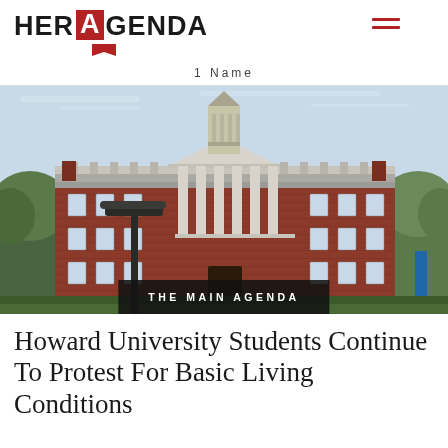HER AGENDA
1 Name
[Figure (photo): Exterior photograph of Howard University campus building — a large red-brick colonial revival structure with a central white portico, columns, and a cupola tower. Tree-lined foreground with a street lamp. Overcast sky.]
THE MAIN AGENDA
Howard University Students Continue To Protest For Basic Living Conditions